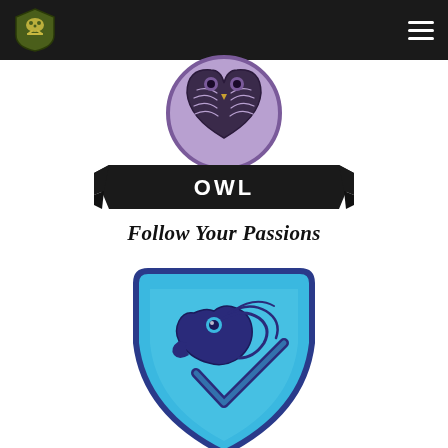[Figure (logo): Dark navigation header bar with a green shield logo on the left (bear paw and bones) and a hamburger menu icon on the right]
[Figure (logo): Purple circular owl mascot logo with heart-shaped owl face]
[Figure (logo): Black ribbon banner with white text reading OWL and black bold italic text below reading Follow Your Passions]
[Figure (logo): Blue shield eagle mascot logo with dark blue eagle head silhouette]